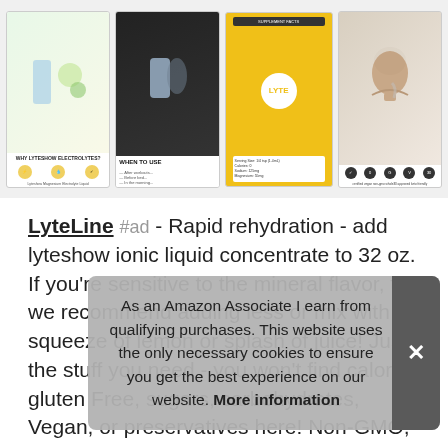[Figure (screenshot): Four product thumbnail images in a horizontal strip for LyteLine/LyteShow electrolyte product]
LyteLine #ad - Rapid rehydration - add lyteshow ionic liquid concentrate to 32 oz. If you're sensitive to the mineral flavor, tea, we recommend adding less or mix with a squeeze of lemon or splash of juice! Just the stuff you need - you won't find calories, gluten Free, sugars, carbohydrates, Vegan, or preservatives here! Non-GMO, flavors, sweeteners, artificial colors, Keto Friendly & Whole30 Approved.
Flav... inclu... be c... chlo...
As an Amazon Associate I earn from qualifying purchases. This website uses the only necessary cookies to ensure you get the best experience on our website. More information